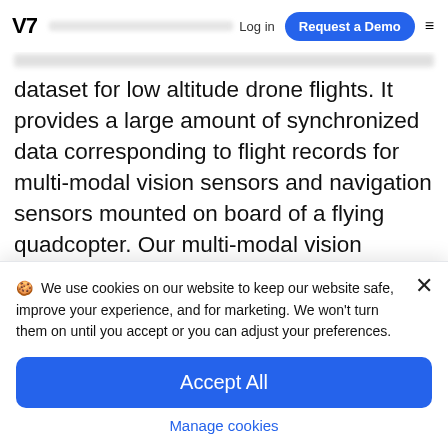V7  Log in  Request a Demo  ≡
Images and Records, is a multi-purpose synthetic dataset for low altitude drone flights. It provides a large amount of synchronized data corresponding to flight records for multi-modal vision sensors and navigation sensors mounted on board of a flying quadcopter. Our multi-modal vision sensors capture RGB pictures, relative surface normal orientation, depth, object semantics and stereo disparity. Additionally, each flight trajectory was
🍪 We use cookies on our website to keep our website safe, improve your experience, and for marketing. We won't turn them on until you accept or you can adjust your preferences.
Accept All
Manage cookies